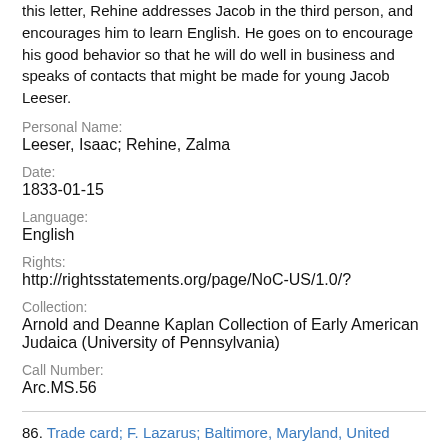this letter, Rehine addresses Jacob in the third person, and encourages him to learn English. He goes on to encourage his good behavior so that he will do well in business and speaks of contacts that might be made for young Jacob Leeser.
Personal Name:
Leeser, Isaac; Rehine, Zalma
Date:
1833-01-15
Language:
English
Rights:
http://rightsstatements.org/page/NoC-US/1.0/?
Collection:
Arnold and Deanne Kaplan Collection of Early American Judaica (University of Pennsylvania)
Call Number:
Arc.MS.56
86. Trade card; F. Lazarus; Baltimore, Maryland, United States; undated